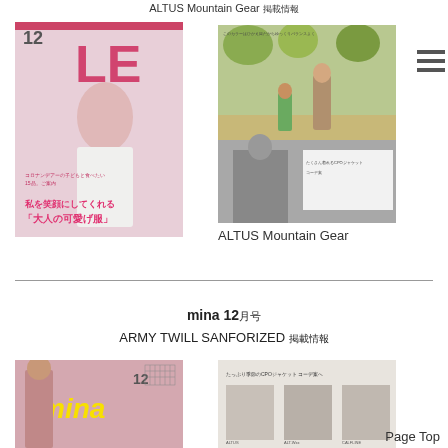ALTUS Mountain Gear [Japanese characters]
[Figure (photo): Magazine cover of LIFE December issue showing a woman in white sweater with Japanese text]
[Figure (photo): ALTUS Mountain Gear website screenshots showing family in outdoor gear]
ALTUS Mountain Gear
mina 12月号
ARMY TWILL SANFORIZED [Japanese characters]
[Figure (photo): mina magazine December cover with yellow mina logo]
[Figure (screenshot): Website screenshot showing army twill CPO jacket content]
Page Top